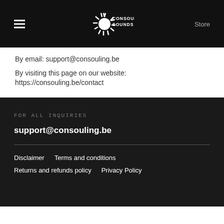Consouling Sounds — Store
By email: support@consouling.be
By visiting this page on our website:
https://consouling.be/contact
FOR ALL INQUIRIES
support@consouling.be
Disclaimer   Terms and conditions   Returns and refunds policy   Privacy Policy